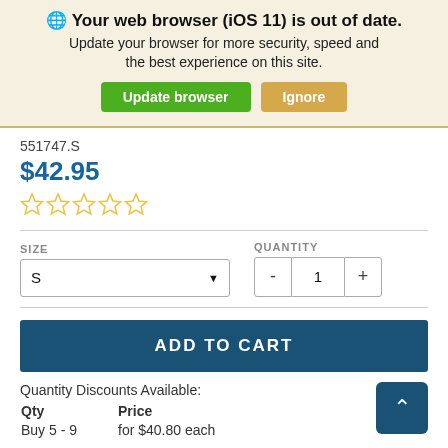🌐 Your web browser (iOS 11) is out of date. Update your browser for more security, speed and the best experience on this site.
Update browser | Ignore
551747.S
$42.95
[Figure (other): Five empty star rating icons in gold/yellow]
SIZE S (dropdown) | QUANTITY - 1 +
ADD TO CART
Quantity Discounts Available:
| Qty | Price |
| --- | --- |
| Buy 5 - 9 | for $40.80 each |